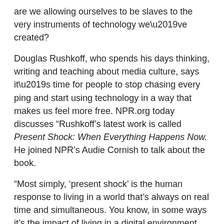are we allowing ourselves to be slaves to the very instruments of technology we've created?
Douglas Rushkoff, who spends his days thinking, writing and teaching about media culture, says it's time for people to stop chasing every ping and start using technology in a way that makes us feel more free. NPR.org today discusses "Rushkoff's latest work is called Present Shock: When Everything Happens Now. He joined NPR's Audie Cornish to talk about the book.
“Most simply, ‘present shock’ is the human response to living in a world that’s always on real time and simultaneous. You know, in some ways it’s the impact of living in a digital environment, and in other ways it’s just really what happens when you stop leaning so forward to the millennium and you finally arrive there.
“In my life, it’s sort of the experience of being on Facebook and seeing everyone from my past suddenly back in my present. And the inability to distinguish between who may have been friends of mine in second grade, and people who I’ve met just yesterday, and people who are actually significant relationships. That collapse of my whole life into one moment, where every ping, every vibration of my phone might just pull me out of whatever it is I’m doing, into something else that seems somehow more pressing on the moment.” Douglas Rushkoff founded